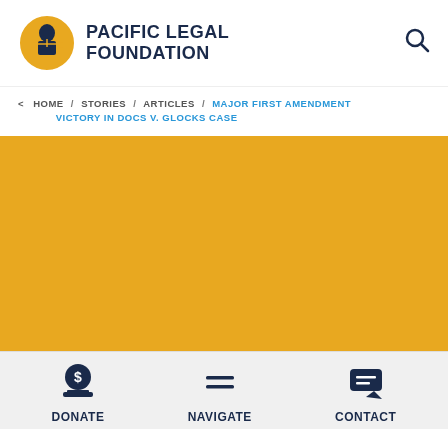[Figure (logo): Pacific Legal Foundation logo: circular yellow emblem with justice figure, beside bold dark blue text PACIFIC LEGAL FOUNDATION]
< HOME / STORIES / ARTICLES / MAJOR FIRST AMENDMENT VICTORY IN DOCS V. GLOCKS CASE
[Figure (illustration): Large golden/amber yellow rectangular banner area]
DONATE  NAVIGATE  CONTACT